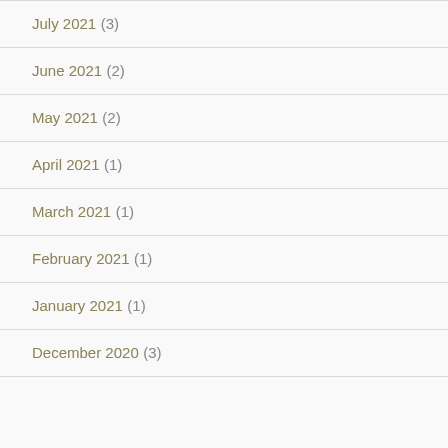July 2021 (3)
June 2021 (2)
May 2021 (2)
April 2021 (1)
March 2021 (1)
February 2021 (1)
January 2021 (1)
December 2020 (3)